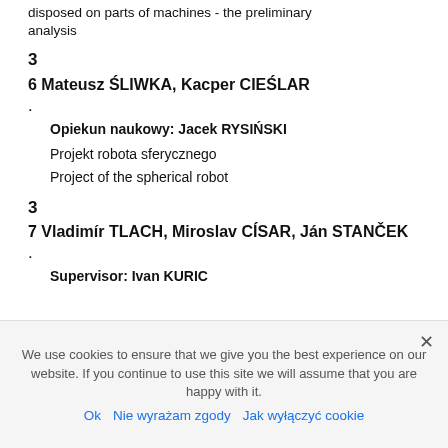disposed on parts of machines - the preliminary analysis
3
6 Mateusz ŚLIWKA, Kacper CIEŚLAR
.
Opiekun naukowy: Jacek RYSIŃSKI
Projekt robota sferycznego
Project of the spherical robot
3
7 Vladimír TLACH, Miroslav CÍSAR, Ján STANČEK
.
Supervisor: Ivan KURIC
We use cookies to ensure that we give you the best experience on our website. If you continue to use this site we will assume that you are happy with it.
Ok   Nie wyrażam zgody   Jak wyłączyć cookie